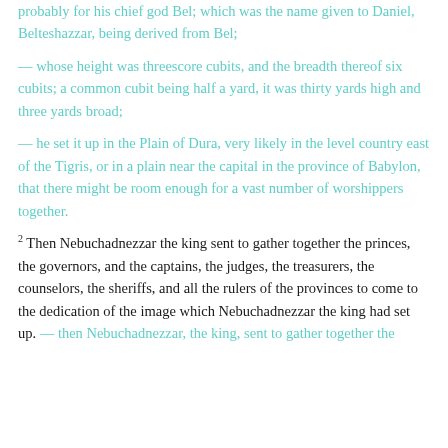probably for his chief god Bel; which was the name given to Daniel, Belteshazzar, being derived from Bel;
— whose height was threescore cubits, and the breadth thereof six cubits; a common cubit being half a yard, it was thirty yards high and three yards broad;
— he set it up in the Plain of Dura, very likely in the level country east of the Tigris, or in a plain near the capital in the province of Babylon, that there might be room enough for a vast number of worshippers together.
2 Then Nebuchadnezzar the king sent to gather together the princes, the governors, and the captains, the judges, the treasurers, the counselors, the sheriffs, and all the rulers of the provinces to come to the dedication of the image which Nebuchadnezzar the king had set up. — then Nebuchadnezzar, the king, sent to gather together the